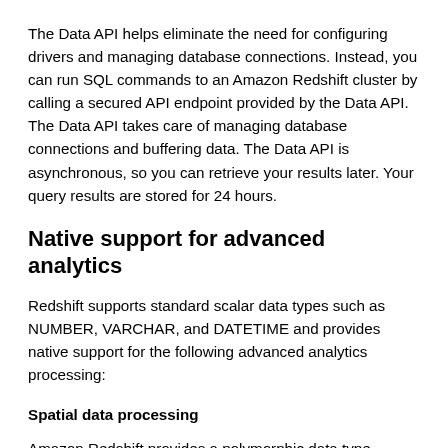The Data API helps eliminate the need for configuring drivers and managing database connections. Instead, you can run SQL commands to an Amazon Redshift cluster by calling a secured API endpoint provided by the Data API. The Data API takes care of managing database connections and buffering data. The Data API is asynchronous, so you can retrieve your results later. Your query results are stored for 24 hours.
Native support for advanced analytics
Redshift supports standard scalar data types such as NUMBER, VARCHAR, and DATETIME and provides native support for the following advanced analytics processing:
Spatial data processing
Amazon Redshift provides a polymorphic data type, GEOMETRY, which supports multiple geometric shapes such as Point, Linestring, Polygon etc. Redshift also provides spatial SQL functions to construct geometric shapes, import, export, access and process the